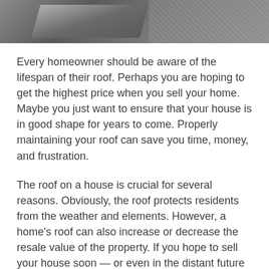[Figure (photo): Overhead photo of a dark roof surface, partially visible at the top of the page as a decorative image strip.]
Every homeowner should be aware of the lifespan of their roof. Perhaps you are hoping to get the highest price when you sell your home. Maybe you just want to ensure that your house is in good shape for years to come. Properly maintaining your roof can save you time, money, and frustration.
The roof on a house is crucial for several reasons. Obviously, the roof protects residents from the weather and elements. However, a home's roof can also increase or decrease the resale value of the property. If you hope to sell your house soon — or even in the distant future — regular roof inspections and proper maintenance habits are vital.